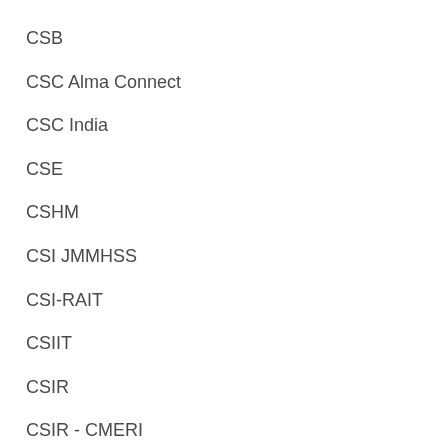CSB
CSC Alma Connect
CSC India
CSE
CSHM
CSI JMMHSS
CSI-RAIT
CSIIT
CSIR
CSIR - CMERI
CSIR-JICT